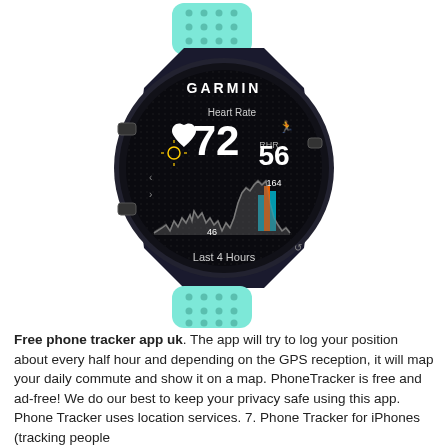[Figure (photo): A Garmin Forerunner smartwatch with a mint/teal silicone band and black case. The watch display shows: GARMIN logo at top, Heart Rate label, large number 72 with a heart icon, RHR 56, 164 label, 46 label, a heart rate graph for Last 4 Hours with colored bars.]
Free phone tracker app uk. The app will try to log your position about every half hour and depending on the GPS reception, it will map your daily commute and show it on a map. PhoneTracker is free and ad-free! We do our best to keep your privacy safe using this app. Phone Tracker uses location services. 7. Phone Tracker for iPhones (tracking people